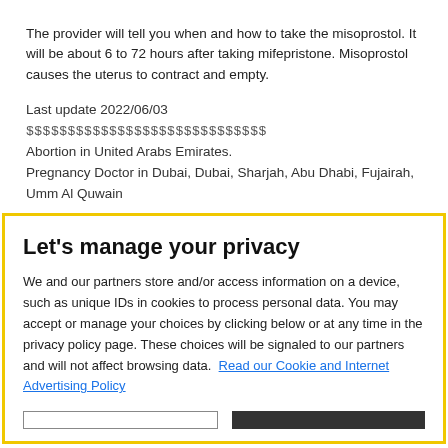The provider will tell you when and how to take the misoprostol. It will be about 6 to 72 hours after taking mifepristone. Misoprostol causes the uterus to contract and empty.
Last update 2022/06/03
$$$$$$$$$$$$$$$$$$$$$$$$$$$
Abortion in United Arabs Emirates. Pregnancy Doctor in Dubai, Dubai, Sharjah, Abu Dhabi, Fujairah, Umm Al Quwain
Let's manage your privacy
We and our partners store and/or access information on a device, such as unique IDs in cookies to process personal data. You may accept or manage your choices by clicking below or at any time in the privacy policy page. These choices will be signaled to our partners and will not affect browsing data. Read our Cookie and Internet Advertising Policy